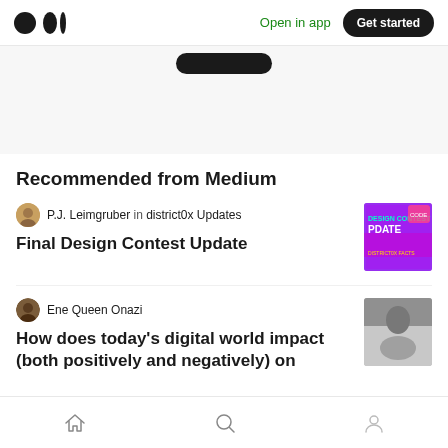Medium logo | Open in app | Get started
Recommended from Medium
P.J. Leimgruber in district0x Updates
Final Design Contest Update
[Figure (photo): Colorful purple/pink graphic with text 'DESIGN CONTEST UPDATE']
Ene Queen Onazi
How does today's digital world impact (both positively and negatively) on
[Figure (photo): Gray-toned photo thumbnail]
Home | Search | Profile